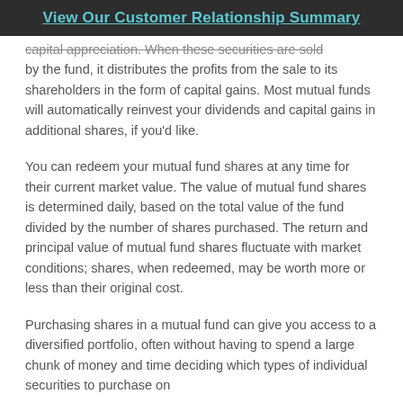View Our Customer Relationship Summary
capital appreciation. When these securities are sold by the fund, it distributes the profits from the sale to its shareholders in the form of capital gains. Most mutual funds will automatically reinvest your dividends and capital gains in additional shares, if you'd like.
You can redeem your mutual fund shares at any time for their current market value. The value of mutual fund shares is determined daily, based on the total value of the fund divided by the number of shares purchased. The return and principal value of mutual fund shares fluctuate with market conditions; shares, when redeemed, may be worth more or less than their original cost.
Purchasing shares in a mutual fund can give you access to a diversified portfolio, often without having to spend a large chunk of money and time deciding which types of individual securities to purchase on